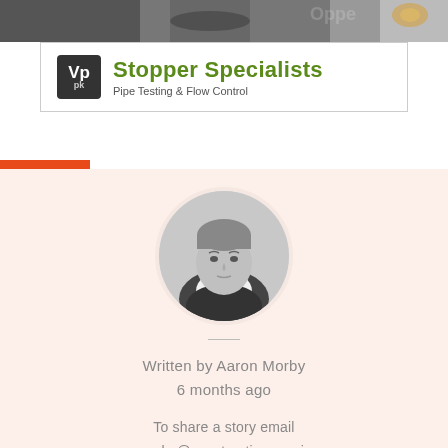[Figure (photo): Dark industrial photo of pipes, partially visible at top of page]
[Figure (logo): Vp pk logo with green text 'Stopper Specialists' and tagline 'Pipe Testing & Flow Control']
[Figure (photo): Black and white circular headshot photo of Aaron Morby]
Written by Aaron Morby
6 months ago
To share a story email aaron.morby@constructionenquirer.com always off the record